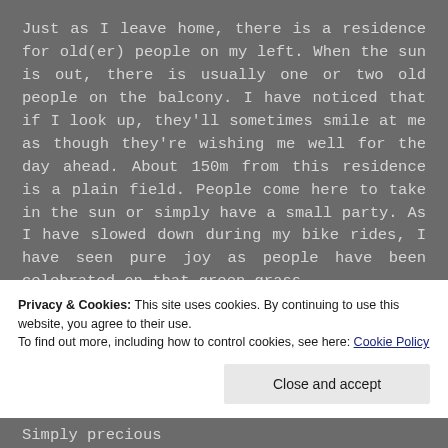Just as I leave home, there is a residence for old(er) people on my left. When the sun is out, there is usually one or two old people on the balcony. I have noticed that if I look up, they'll sometimes smile at me as though they're wishing me well for the day ahead. About 150m from this residence is a plain field. People come here to take in the sun or simply have a small party. As I have slowed down during my bike rides, I have seen pure joy as people have been celebrated on that green grass.
Privacy & Cookies: This site uses cookies. By continuing to use this website, you agree to their use.
To find out more, including how to control cookies, see here: Cookie Policy
Close and accept
Simply precious